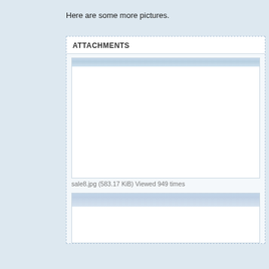Here are some more pictures.
ATTACHMENTS
[Figure (photo): Sky photo (sale8.jpg) - panoramic sky image with light clouds]
sale8.jpg (583.17 KiB) Viewed 949 times
[Figure (photo): Second sky photo - panoramic sky with clouds and tree branches visible at right]